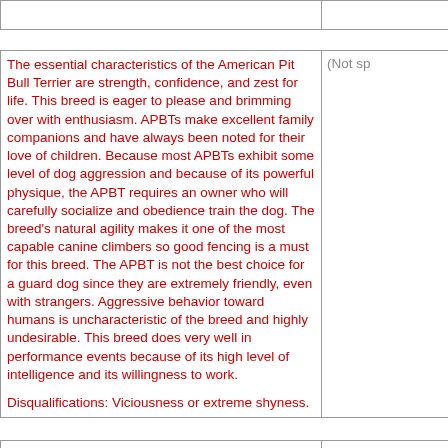The essential characteristics of the American Pit Bull Terrier are strength, confidence, and zest for life. This breed is eager to please and brimming over with enthusiasm. APBTs make excellent family companions and have always been noted for their love of children. Because most APBTs exhibit some level of dog aggression and because of its powerful physique, the APBT requires an owner who will carefully socialize and obedience train the dog. The breed's natural agility makes it one of the most capable canine climbers so good fencing is a must for this breed. The APBT is not the best choice for a guard dog since they are extremely friendly, even with strangers. Aggressive behavior toward humans is uncharacteristic of the breed and highly undesirable. This breed does very well in performance events because of its high level of intelligence and its willingness to work.

Disqualifications: Viciousness or extreme shyness.
(Not sp
Keenly
Head
Medium length. Bricklike in shape. Skull flat and widest at the ears with prominent cheeks. Free from wrinkles

Nose
Wide open nostrils. Any colour acceptable.
Head m pronou length, eyes. J biting p definite